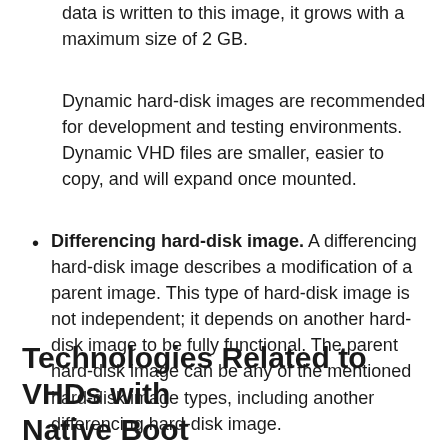data is written to this image, it grows with a maximum size of 2 GB.
Dynamic hard-disk images are recommended for development and testing environments. Dynamic VHD files are smaller, easier to copy, and will expand once mounted.
Differencing hard-disk image. A differencing hard-disk image describes a modification of a parent image. This type of hard-disk image is not independent; it depends on another hard-disk image to be fully functional. The parent hard-disk image can be any of the mentioned hard-disk image types, including another differencing hard-disk image.
Technologies Related to VHDs with Native Boot